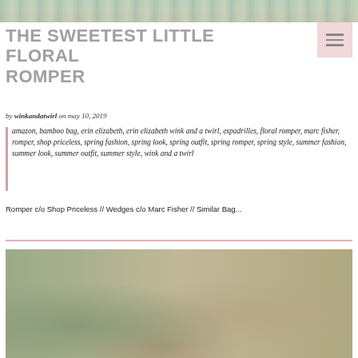[Figure (photo): Top banner photo showing outdoor garden/patio scene with greenery and decorative tiles]
THE SWEETEST LITTLE FLORAL ROMPER
by winkandatwirl on may 10, 2019
amazon, bamboo bag, erin elizabeth, erin elizabeth wink and a twirl, espadrilles, floral romper, marc fisher, romper, shop priceless, spring fashion, spring look, spring outfit, spring romper, spring style, summer fashion, summer look, summer outfit, summer style, wink and a twirl
Romper c/o Shop Priceless // Wedges c/o Marc Fisher // Similar Bag...
[Figure (photo): Outdoor fashion photo showing a woman in a floral romper with a straw hat, surrounded by greenery and outdoor decorative elements]